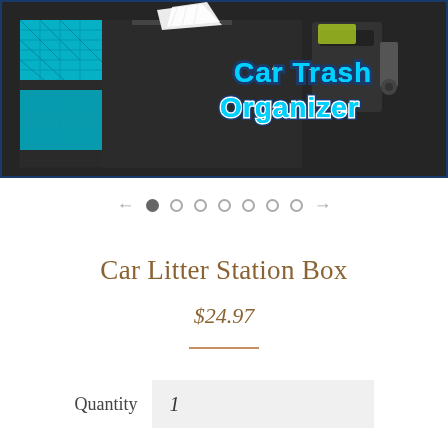[Figure (photo): Product photo of a car trash organizer. A dark fabric box-style organizer with teal/cyan geometric patterned panels on the left side, a white tissue protruding from it, set against a dark background. Text overlay reads 'CAR TRASH ORGANIZER' in cyan with white and dark blue outline.]
Car Litter Station Box
$24.97
Quantity  1